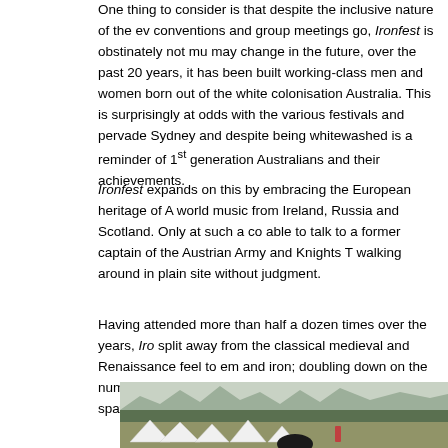One thing to consider is that despite the inclusive nature of the ev conventions and group meetings go, Ironfest is obstinately not mu may change in the future, over the past 20 years, it has been built working-class men and women born out of the white colonisation Australia. This is surprisingly at odds with the various festivals an pervade Sydney and despite being whitewashed is a reminder of 1st generation Australians and their achievements.
Ironfest expands on this by embracing the European heritage of A world music from Ireland, Russia and Scotland. Only at such a co able to talk to a former captain of the Austrian Army and Knights T walking around in plain site without judgment.
Having attended more than half a dozen times over the years, Iro split away from the classical medieval and Renaissance feel to em and iron; doubling down on the number of military displays. This, i other festivals to spawn such as Winterfest and the St Ives Medie
[Figure (photo): Outdoor festival scene with white tents in foreground, green tree-covered hills in background, and people or objects visible in the scene.]